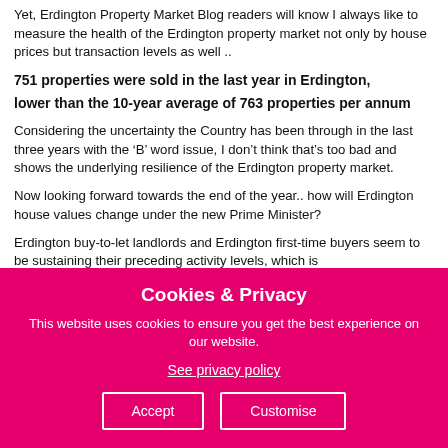Yet, Erdington Property Market Blog readers will know I always like to measure the health of the Erdington property market not only by house prices but transaction levels as well ..
751 properties were sold in the last year in Erdington,
lower than the 10-year average of 763 properties per annum
Considering the uncertainty the Country has been through in the last three years with the ‘B’ word issue, I don’t think that’s too bad and shows the underlying resilience of the Erdington property market.
Now looking forward towards the end of the year.. how will Erdington house values change under the new Prime Minister?
Erdington buy-to-let landlords and Erdington first-time buyers seem to be sustaining their preceding activity levels, which is
[Figure (screenshot): Cookies & Privacy overlay banner with pink/magenta background. Title: 'Cookies & Privacy'. Body text: 'This website uses cookies to ensure you get the best experience on our website.' Link: 'See privacy policy'. Two buttons: 'Accept' and 'Customise'.]